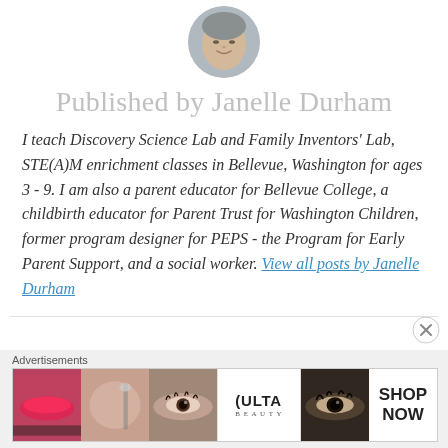[Figure (photo): Circular avatar/profile photo of Janelle Durham]
Published by Janelle Durham
I teach Discovery Science Lab and Family Inventors' Lab, STE(A)M enrichment classes in Bellevue, Washington for ages 3 - 9. I am also a parent educator for Bellevue College, a childbirth educator for Parent Trust for Washington Children, former program designer for PEPS - the Program for Early Parent Support, and a social worker. View all posts by Janelle Durham
[Figure (photo): Ulta Beauty advertisement banner showing makeup/cosmetic images with SHOP NOW button]